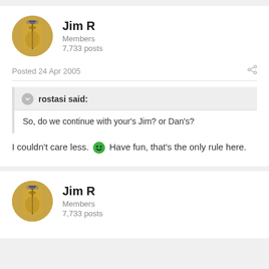Jim R
Members
7,733 posts
Posted 24 Apr 2005
rostasi said:
So, do we continue with your's Jim? or Dan's?
I couldn't care less. 😄 Have fun, that's the only rule here.
Jim R
Members
7,733 posts